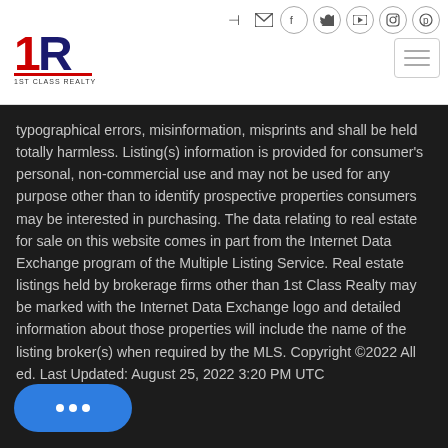1st Class Realty - navigation header with logo and social icons
typographical errors, misinformation, misprints and shall be held totally harmless. Listing(s) information is provided for consumer's personal, non-commercial use and may not be used for any purpose other than to identify prospective properties consumers may be interested in purchasing. The data relating to real estate for sale on this website comes in part from the Internet Data Exchange program of the Multiple Listing Service. Real estate listings held by brokerage firms other than 1st Class Realty may be marked with the Internet Data Exchange logo and detailed information about those properties will include the name of the listing broker(s) when required by the MLS. Copyright ©2022 All [Rights] Reserved. Last Updated: August 25, 2022 3:20 PM UTC